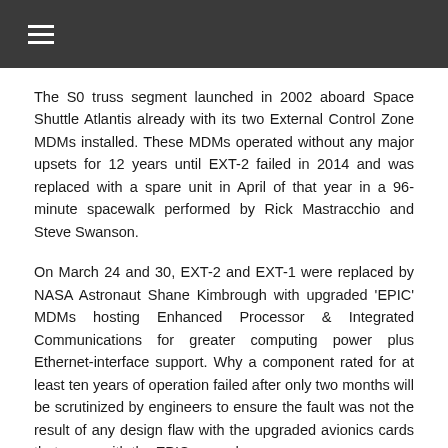☰
The S0 truss segment launched in 2002 aboard Space Shuttle Atlantis already with its two External Control Zone MDMs installed. These MDMs operated without any major upsets for 12 years until EXT-2 failed in 2014 and was replaced with a spare unit in April of that year in a 96-minute spacewalk performed by Rick Mastracchio and Steve Swanson.
On March 24 and 30, EXT-2 and EXT-1 were replaced by NASA Astronaut Shane Kimbrough with upgraded 'EPIC' MDMs hosting Enhanced Processor & Integrated Communications for greater computing power plus Ethernet-interface support. Why a component rated for at least ten years of operation failed after only two months will be scrutinized by engineers to ensure the fault was not the result of any design flaw with the upgraded avionics cards that came with the EPIC upgrade.